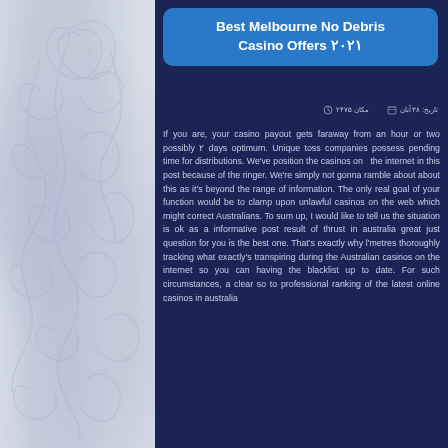Best Melbourne No Debris Casino Offers ۲۰۲۱
مکان ۲۴۷۵ | تاریخ: ۳۸ آبان
If you are, your casino payout gets faraway from an hour or two possibly ۲ days optimum. Unique toss companies possess pending time for distributions. We've position the casinos on the internet in this post because of the ringer. We're simply not gonna ramble about about this as it's beyond the range of information. The only real goal of your function would be to clamp upon unlawful casinos on the web which might correct Australians. To sum up, I would like to tell us the situation is ok as a informative post result of thrust in australia great just question for you is the best one. That's exactly why l'metres thoroughly tracking what exactly's transpiring during the Australian casinos on the internet so you can having the blacklist up to date. For such circumstances, a clear so to professional ranking of the latest online casinos in australia